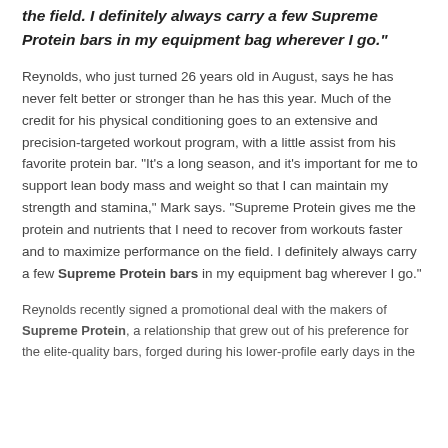the field. I definitely always carry a few Supreme Protein bars in my equipment bag wherever I go."
Reynolds, who just turned 26 years old in August, says he has never felt better or stronger than he has this year. Much of the credit for his physical conditioning goes to an extensive and precision-targeted workout program, with a little assist from his favorite protein bar. "It's a long season, and it's important for me to support lean body mass and weight so that I can maintain my strength and stamina," Mark says. "Supreme Protein gives me the protein and nutrients that I need to recover from workouts faster and to maximize performance on the field. I definitely always carry a few Supreme Protein bars in my equipment bag wherever I go."
Reynolds recently signed a promotional deal with the makers of Supreme Protein, a relationship that grew out of his preference for the elite-quality bars, forged during his lower-profile early days in the